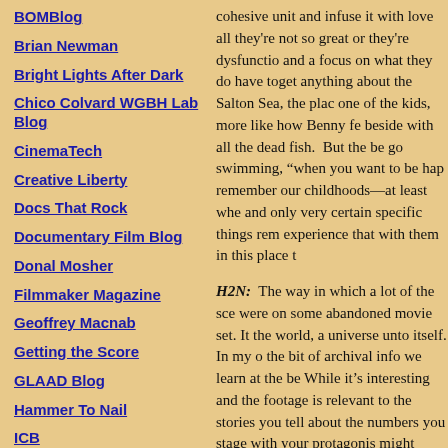BOMBlog
Brian Newman
Bright Lights After Dark
Chico Colvard WGBH Lab Blog
CinemaTech
Creative Liberty
Docs That Rock
Documentary Film Blog
Donal Mosher
Filmmaker Magazine
Geoffrey Macnab
Getting the Score
GLAAD Blog
Hammer To Nail
ICB
cohesive unit and infuse it with love all they're not so great or they're dysfunctio and a focus on what they do have toget anything about the Salton Sea, the plac one of the kids, more like how Benny fe beside with all the dead fish.  But the be go swimming, “when you want to be hap remember our childhoods—at least whe and only very certain specific things rem experience that with them in this place t
H2N:  The way in which a lot of the sce were on some abandoned movie set. It the world, a universe unto itself. In my o the bit of archival info we learn at the be While it’s interesting and the footage is relevant to the stories you tell about the numbers you stage with your protagonis might spring up out of nowhere at any g